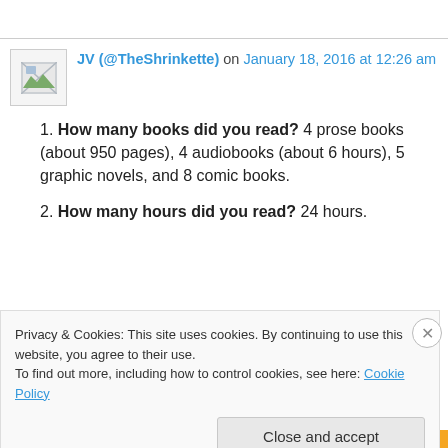[Figure (other): Broken image placeholder / avatar icon for user JV (@TheShrinkette)]
JV (@TheShrinkette) on January 18, 2016 at 12:26 am
1. How many books did you read? 4 prose books (about 950 pages), 4 audiobooks (about 6 hours), 5 graphic novels, and 8 comic books.
2. How many hours did you read? 24 hours.
Privacy & Cookies: This site uses cookies. By continuing to use this website, you agree to their use. To find out more, including how to control cookies, see here: Cookie Policy
Close and accept